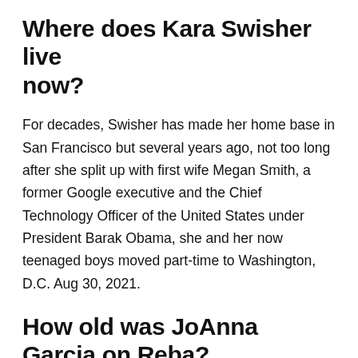Where does Kara Swisher live now?
For decades, Swisher has made her home base in San Francisco but several years ago, not too long after she split up with first wife Megan Smith, a former Google executive and the Chief Technology Officer of the United States under President Barak Obama, she and her now teenaged boys moved part-time to Washington, D.C. Aug 30, 2021.
How old was JoAnna Garcia on Reba?
What is Derek Jeters Net Worth?